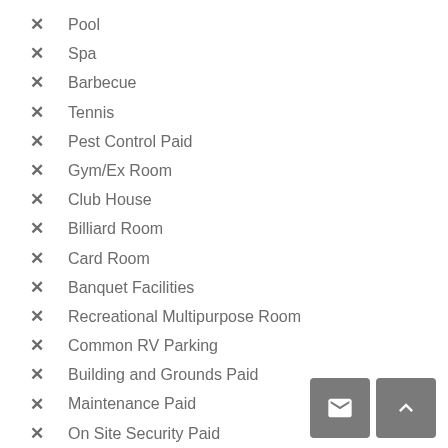Pool
Spa
Barbecue
Tennis
Pest Control Paid
Gym/Ex Room
Club House
Billiard Room
Card Room
Banquet Facilities
Recreational Multipurpose Room
Common RV Parking
Building and Grounds Paid
Maintenance Paid
On Site Security Paid
Sewer Paid